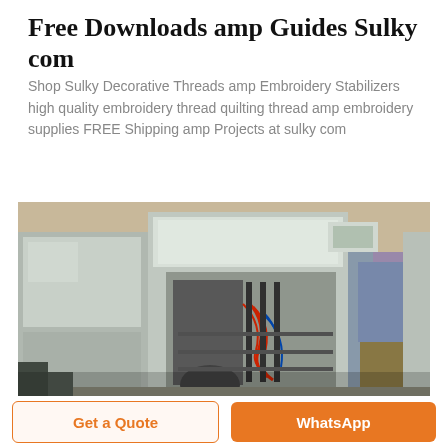Free Downloads amp Guides Sulky com
Shop Sulky Decorative Threads amp Embroidery Stabilizers high quality embroidery thread quilting thread amp embroidery supplies FREE Shipping amp Projects at sulky com
[Figure (photo): Industrial machine in a factory or workshop setting, large metallic equipment with wiring and components, a person standing to the right side]
Get a Quote
WhatsApp